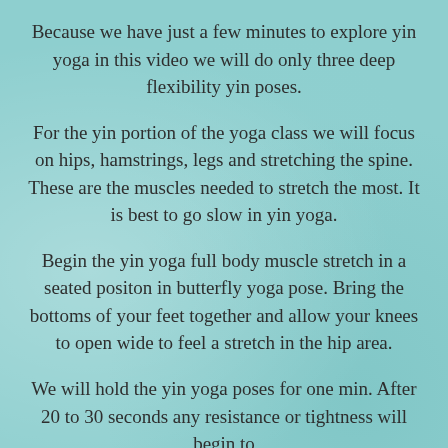Because we have just a few minutes to explore yin yoga in this video we will do only three deep flexibility yin poses.
For the yin portion of the yoga class we will focus on hips, hamstrings, legs and stretching the spine. These are the muscles needed to stretch the most. It is best to go slow in yin yoga.
Begin the yin yoga full body muscle stretch in a seated positon in butterfly yoga pose. Bring the bottoms of your feet together and allow your knees to open wide to feel a stretch in the hip area.
We will hold the yin yoga poses for one min. After 20 to 30 seconds any resistance or tightness will begin to